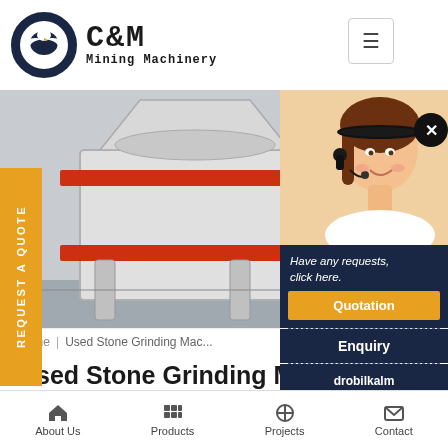[Figure (logo): C&M Mining Machinery logo with eagle in gear circle and text]
[Figure (photo): Industrial stone grinding/crushing machinery in a factory setting, white and orange colored heavy equipment]
Home | Used Stone Grinding Mac…
Used Stone Grinding Machine for Sale
REQUEST A QUOTE
[Figure (photo): Customer service representative / agent with headset smiling]
Have any requests, click here.
Quotation
Enquiry
drobilkalm@gmail.com
About Us | Products | Projects | Contact